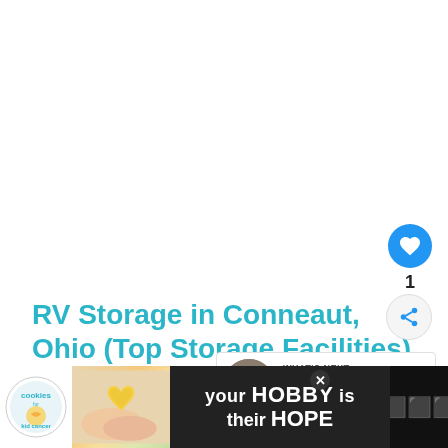RV Storage in Conneaut, Ohio (Top Storage Facilities)
[Figure (illustration): Blue circular heart/like button icon]
1
[Figure (illustration): Gray circular share icon button]
[Figure (screenshot): What's Next panel: thumbnail of RV storage facility with label 'WHAT'S NEXT → RV Storage Facilities Ne...']
[Figure (illustration): Bottom advertisement banner: 'your HOBBY is their HOPE' - cookies for cancer charity ad with close button, cookies logo, image of hands holding heart cookie]